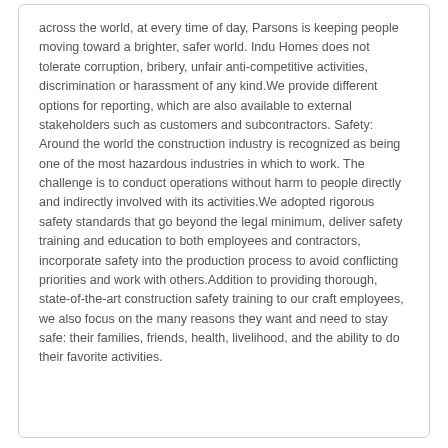across the world, at every time of day, Parsons is keeping people moving toward a brighter, safer world. Indu Homes does not tolerate corruption, bribery, unfair anti-competitive activities, discrimination or harassment of any kind.We provide different options for reporting, which are also available to external stakeholders such as customers and subcontractors. Safety: Around the world the construction industry is recognized as being one of the most hazardous industries in which to work. The challenge is to conduct operations without harm to people directly and indirectly involved with its activities.We adopted rigorous safety standards that go beyond the legal minimum, deliver safety training and education to both employees and contractors, incorporate safety into the production process to avoid conflicting priorities and work with others.Addition to providing thorough, state-of-the-art construction safety training to our craft employees, we also focus on the many reasons they want and need to stay safe: their families, friends, health, livelihood, and the ability to do their favorite activities.